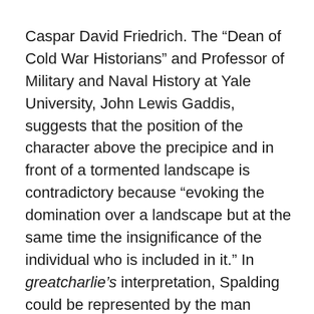Caspar David Friedrich. The “Dean of Cold War Historians” and Professor of Military and Naval History at Yale University, John Lewis Gaddis, suggests that the position of the character above the precipice and in front of a tormented landscape is contradictory because “evoking the domination over a landscape but at the same time the insignificance of the individual who is included in it.” In greatcharlie’s interpretation, Spalding could be represented by the man standing as he sees dangers that his country faces at the present and tries to imagine and consider responses to those unknown that it may face in the future. He fiercely desires to mitigate them, and thereby allow the US public to rest more easily.
The practice of understanding the competition between powers and the clashes that result in the establishment of a dominant power was well-demonstrated more than two